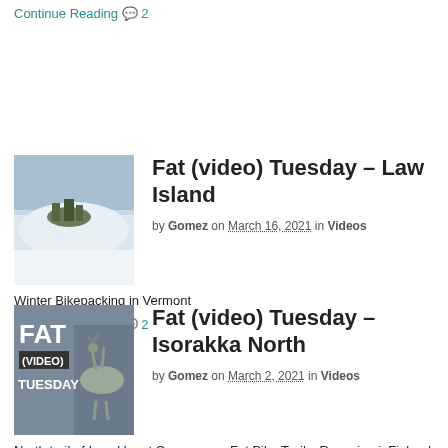Continue Reading 💬 2
[Figure (photo): Snowy winter landscape with a small island or cluster of trees in a frozen lake, aerial view]
Fat (video) Tuesday – Law Island
by Gomez on March 16, 2021 in Videos
Winter Bikepacking in Vermont
Continue Reading 💬 2
[Figure (photo): FAT (VIDEO) TUESDAY logo with reindeer in background]
Fat (video) Tuesday – Isorakka North
by Gomez on March 2, 2021 in Videos
North trail of Isorakka at Ounasvaara Fat Bike Trails, Rovaniemi, Finland tarkemmat reittittitiedot täältä: https://www.rolloutdoors.com/fi/rovan… Would you share your Plus